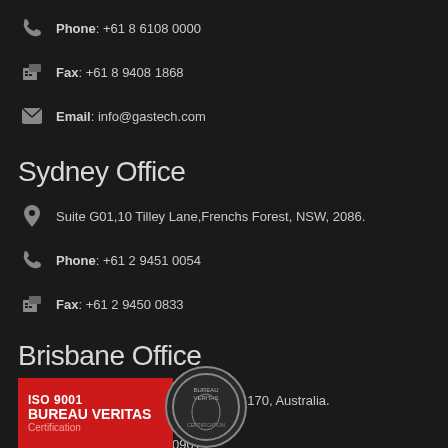Phone: +61 8 6108 0000
Fax: +61 8 9408 1868
Email: info@gastech.com
Sydney Office
Suite G01, 10 Tilley Lane, Frenchs Forest, NSW, 2086.
Phone: +61 2 9451 0054
Fax: +61 2 9450 0833
Brisbane Office
P.O. Box 349, Cannon Hill QLD 4170, Australia.
Phone: +61 7 3160 0901
[Figure (logo): ISO 9001 Bureau Veritas Certification logo with red background box and circular Bureau Veritas seal]